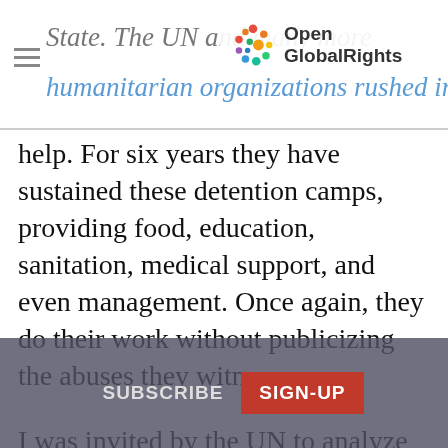State. The UN and many more humanitarian organizations rushed in to help.
[Figure (logo): OpenGlobalRights logo with colorful dot cluster and bold text]
help. For six years they have sustained these detention camps, providing food, education, sanitation, medical support, and even management. Once again, they do their work without publicizing the abuses they witness.
I was invited by the UN to analyze the dilemmas it faced in Myanmar in 2015 and again in 2017. Most recently, in June I was again in Myanmar working on the same challenge with international NGOs. My assessment hasn't changed: the UN and its partners have yet to